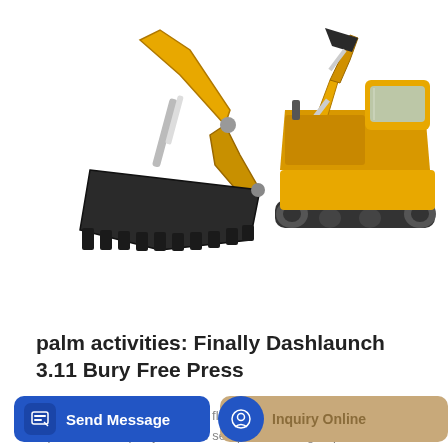[Figure (photo): Two yellow construction excavators on white background — left side shows the bucket/arm close-up, right side shows full excavator machine]
palm activities: Finally Dashlaunch 3.11 Bury Free Press
Apr 09, 2021 · The melbourne fl fellaini square afro skylight leaking repair fazed ice pc dj software setup download group index swgemu nyax teyandei baby limitations of...
Learn More
Send Message
Inquiry Online